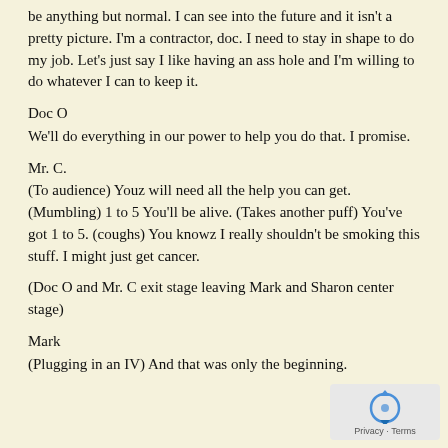be anything but normal. I can see into the future and it isn't a pretty picture. I'm a contractor, doc. I need to stay in shape to do my job. Let's just say I like having an ass hole and I'm willing to do whatever I can to keep it.
Doc O
We'll do everything in our power to help you do that. I promise.
Mr. C.
(To audience) Youz will need all the help you can get. (Mumbling) 1 to 5 You'll be alive. (Takes another puff) You've got 1 to 5. (coughs) You knowz I really shouldn't be smoking this stuff. I might just get cancer.
(Doc O and Mr. C exit stage leaving Mark and Sharon center stage)
Mark
(Plugging in an IV) And that was only the beginning.
[Figure (logo): reCAPTCHA logo with Privacy and Terms text]